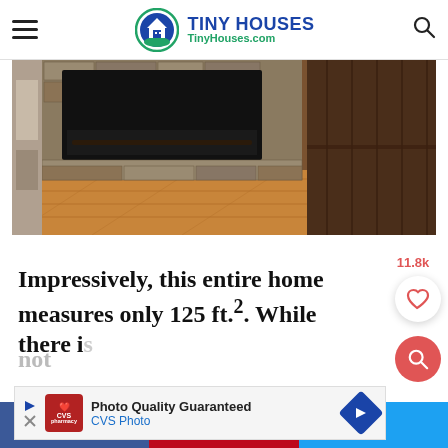TINY HOUSES – TinyHouses.com
[Figure (photo): Interior photo showing bottom portion of a stone fireplace with wood flooring and dark wood cabinet/door panel on the right]
Impressively, this entire home measures only 125 ft.². While there is not [partially obscured by ad]
[Figure (other): CVS Photo advertisement banner: Photo Quality Guaranteed – CVS Photo]
f 9.2K | P 30 | Twitter share